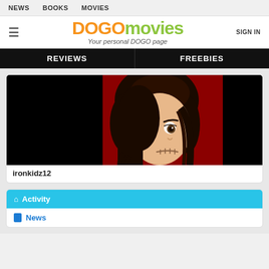NEWS  BOOKS  MOVIES
DOGOmovies – Your personal DOGO page
REVIEWS  FREEBIES
[Figure (illustration): Anime-style character illustration: a dark-haired girl with half black/half red background, cartoon face with one visible eye and stitched mouth]
ironkidz12
Activity
News